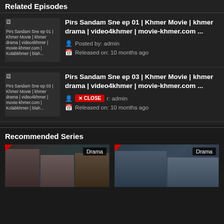Related Episodes
[Figure (photo): Thumbnail for Pirs Sandam Sne ep 01 - broken image icon with alt text]
Pirs Sandam Sne ep 01 | Khmer Movie | khmer drama | video4khmer | movie-khmer.com ...
Posted by: admin
Released on: 10 months ago
[Figure (photo): Thumbnail for Pirs Sandam Sne ep 03 - broken image icon with alt text]
Pirs Sandam Sne ep 03 | Khmer Movie | khmer drama | video4khmer | movie-khmer.com ...
Posted by: admin
Released on: 10 months ago
Recommended Series
[Figure (photo): Drama series card 1 with COMPLETED ribbon and Drama badge]
[Figure (photo): Drama series card 2 with COMPLETED ribbon and Drama badge]